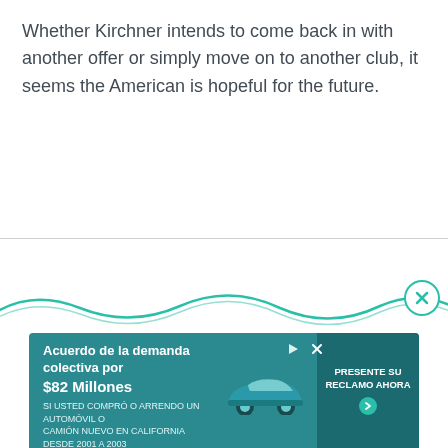Whether Kirchner intends to come back in with another offer or simply move on to another club, it seems the American is hopeful for the future.
[Figure (other): Advertisement placeholder box with 'Ad' label on a light grey background, followed by a teal wave decoration and a Spanish-language advertisement banner reading 'Acuerdo de la demanda colectiva por $82 Millones' with a car image and 'PRESENTE SU RECLAMO AHORA' call to action button.]